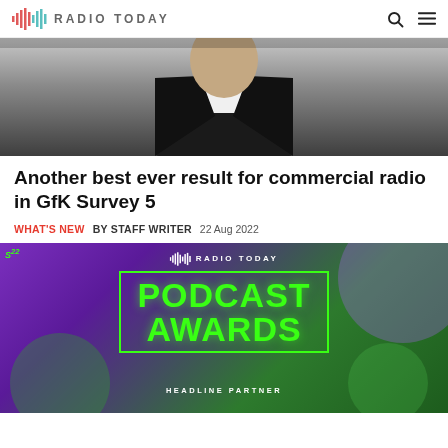RADIO TODAY
[Figure (photo): Person in black suit and white shirt, cropped from shoulders up, on grey background]
Another best ever result for commercial radio in GfK Survey 5
WHAT'S NEW  BY STAFF WRITER  22 Aug 2022
[Figure (photo): Radio Today Podcast Awards promotional banner with green neon text on purple and green gradient background, with 'HEADLINE PARTNER' text at bottom]